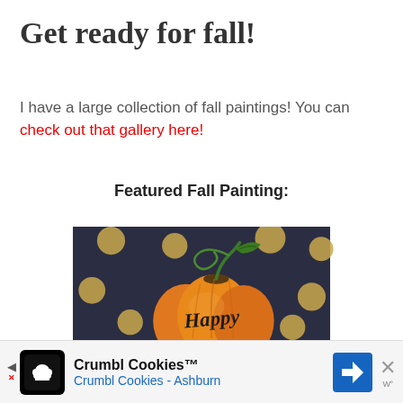Get ready for fall!
I have a large collection of fall paintings! You can check out that gallery here!
Featured Fall Painting:
[Figure (photo): A painting of an orange pumpkin with the word 'Happy' written on it in black script, on a dark navy blue background with gold polka dots. The pumpkin has a green curling vine stem and a leaf.]
[Figure (other): Advertisement bar for Crumbl Cookies - Ashburn with logo, navigation arrow, blue direction icon, and close button.]